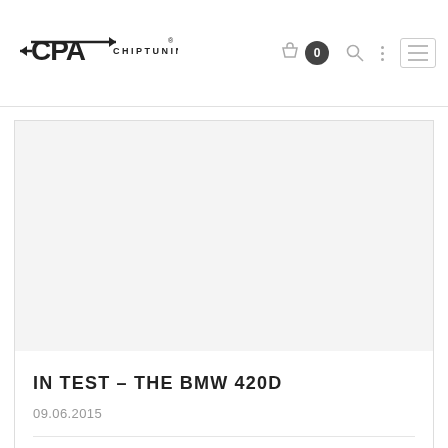CPA CHIPTUNING — navigation header with logo, cart (0), search, menu icons
[Figure (photo): Large blank/light grey image area for BMW 420D article thumbnail]
IN TEST – THE BMW 420D
09.06.2015